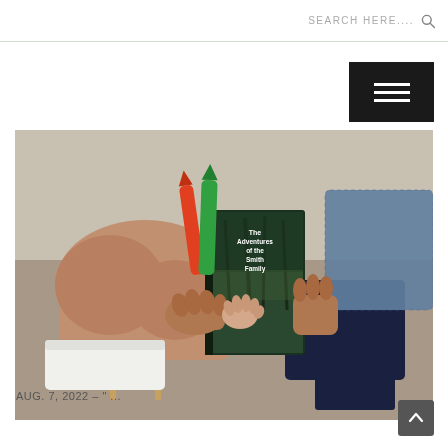SEARCH HERE....
[Figure (photo): A person sitting on a stool holding a book titled 'The Adventures of the Smith Family', with a child's hand also holding the book. Colorful items (markers or crayons) are visible nearby.]
AUG. 7, 2022 – " ...